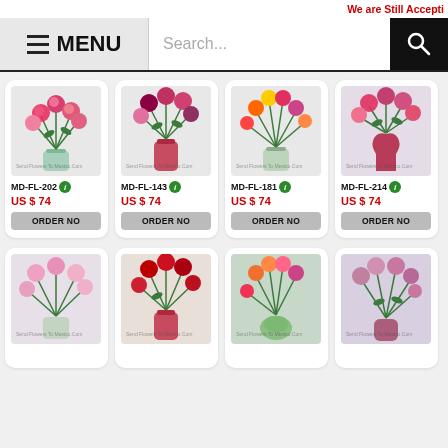We are Still Accepti
[Figure (screenshot): Navigation bar with MENU button and search bar]
[Figure (photo): Flower arrangement MD-FL-202 - mixed pink and red roses in clear vase]
MD-FL-202
US $ 74
ORDER NO
[Figure (photo): Flower arrangement MD-FL-143 - red and pink roses in red vase]
MD-FL-143
US $ 74
ORDER NO
[Figure (photo): Flower arrangement MD-FL-181 - colorful mixed roses in clear vase]
MD-FL-181
US $ 74
ORDER NO
[Figure (photo): Flower arrangement MD-FL-214 - red and pink roses in heart-shaped red vase]
MD-FL-214
US $ 74
ORDER NO
[Figure (photo): Flower arrangement - pink roses in clear vase (partial, row 2)]
[Figure (photo): Flower arrangement - red roses in red vase (partial, row 2)]
[Figure (photo): Flower arrangement - colorful mixed roses in green vase (partial, row 2)]
[Figure (photo): Flower arrangement - pink/mauve roses (partial, row 2)]